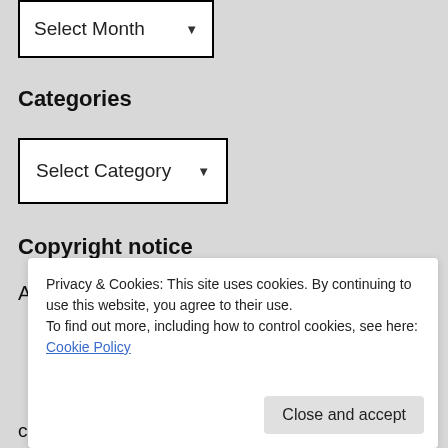[Figure (screenshot): A dropdown UI element with label 'Select Month' and a down arrow, styled with a black border on a grey background]
Categories
[Figure (screenshot): A dropdown UI element with label 'Select Category' and a down arrow, styled with a black border on a grey background]
Copyright notice
All content on this website is Copyright
citing this website's content.
Privacy & Cookies: This site uses cookies. By continuing to use this website, you agree to their use.
To find out more, including how to control cookies, see here: Cookie Policy